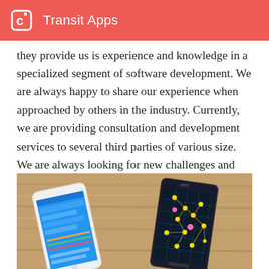Transit Apps
they provide us is experience and knowledge in a specialized segment of software development. We are always happy to share our experience when approached by others in the industry. Currently, we are providing consultation and development services to several third parties of various size. We are always looking for new challenges and further ways to expand our knowledge.
[Figure (photo): Two smartphones resting on a wooden surface. The left phone is white showing a transit app with blue UI and route information. The right phone is dark (HTC) showing a map with colored transit nodes and connections.]